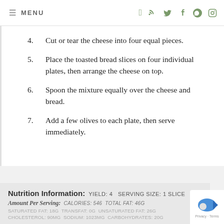≡ MENU
4. Cut or tear the cheese into four equal pieces.
5. Place the toasted bread slices on four individual plates, then arrange the cheese on top.
6. Spoon the mixture equally over the cheese and bread.
7. Add a few olives to each plate, then serve immediately.
Nutrition Information: YIELD: 4  SERVING SIZE: 1 slice  Amount Per Serving: CALORIES: 546 TOTAL FAT: 46g  SATURATED FAT: 18g TRANSFAT: 0g UNSATURATED FAT: 26g  CHOLESTEROL: 90mg SODIUM: 1023mg CARBOHYDRATES: 20g